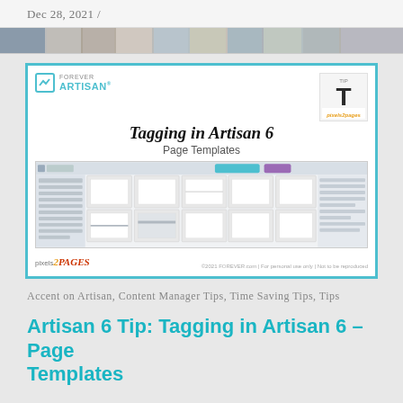Dec 28, 2021 /
[Figure (screenshot): Screenshot of Forever Artisan 6 software showing page templates grid with tutorial card overlay titled 'Tagging in Artisan 6 Page Templates']
Accent on Artisan, Content Manager Tips, Time Saving Tips, Tips
Artisan 6 Tip: Tagging in Artisan 6 – Page Templates